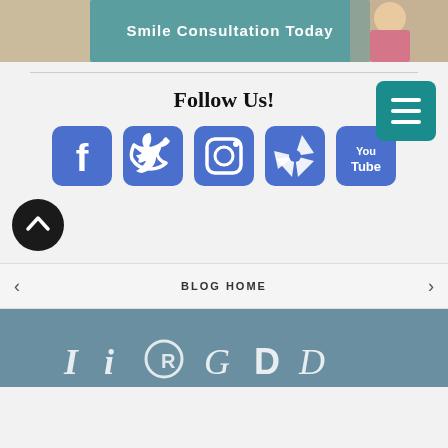[Figure (photo): Top banner with teal background text 'Smile Consultation Today' and a woman in striped shirt]
Follow Us!
[Figure (infographic): Social media icons: Facebook, Twitter, Instagram, Yelp, YouTube — all in blue rounded square icons]
[Figure (other): Teal hamburger menu button (three white horizontal lines on teal background)]
[Figure (other): Dark circular back-to-top arrow button]
BLOG HOME
[Figure (other): Footer section with steel blue background and partially visible logos at the bottom]